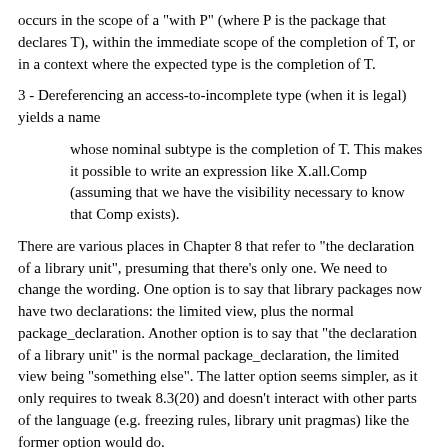occurs in the scope of a "with P" (where P is the package that declares T), within the immediate scope of the completion of T, or in a context where the expected type is the completion of T.
3 - Dereferencing an access-to-incomplete type (when it is legal) yields a name
whose nominal subtype is the completion of T. This makes it possible to write an expression like X.all.Comp (assuming that we have the visibility necessary to know that Comp exists).
There are various places in Chapter 8 that refer to "the declaration of a library unit", presuming that there's only one. We need to change the wording. One option is to say that library packages now have two declarations: the limited view, plus the normal package_declaration. Another option is to say that "the declaration of a library unit" is the normal package_declaration, the limited view being "something else". The latter option seems simpler, as it only requires to tweak 8.3(20) and doesn't interact with other parts of the language (e.g. freezing rules, library unit pragmas) like the former option would do.
The part about the "declarative region of the incomplete type" in the wording of 3.10.1(10) is intended to forbid a case like: